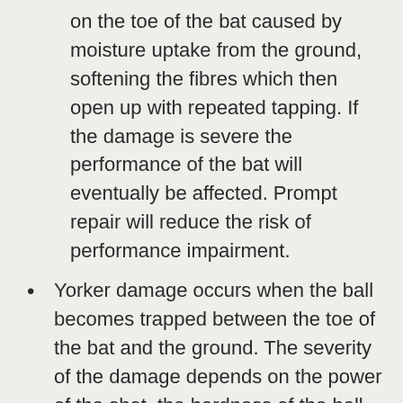on the toe of the bat caused by moisture uptake from the ground, softening the fibres which then open up with repeated tapping. If the damage is severe the performance of the bat will eventually be affected. Prompt repair will reduce the risk of performance impairment.
Yorker damage occurs when the ball becomes trapped between the toe of the bat and the ground. The severity of the damage depends on the power of the shot, the hardness of the ball and the hardness of the playing surface. Any resulting splitting should be assessed and repaired if appropriate. In severe cases the bat splitting is severe enough to render the bat unusable however usually this can be repaired to give further life to the bat.